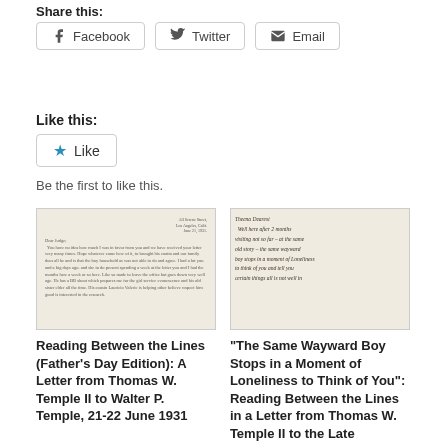Share this:
Facebook  Twitter  Email
Like this:
Like
Be the first to like this.
[Figure (photo): Scanned letter image – a typed letter from Thomas W. Temple II]
Reading Between the Lines (Father’s Day Edition): A Letter from Thomas W. Temple II to Walter P. Temple, 21-22 June 1931
[Figure (photo): Scanned handwritten letter image]
“The Same Wayward Boy Stops in a Moment of Loneliness to Think of You”: Reading Between the Lines in a Letter from Thomas W. Temple II to the Late